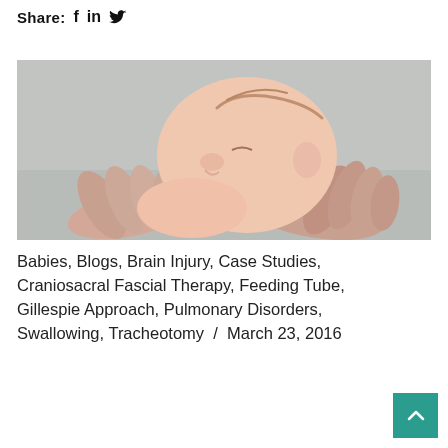Share: f in 🐦
[Figure (photo): Close-up photograph of a sleeping newborn baby being held in adult hands, against a grey background.]
Babies, Blogs, Brain Injury, Case Studies, Craniosacral Fascial Therapy, Feeding Tube, Gillespie Approach, Pulmonary Disorders, Swallowing, Tracheotomy / March 23, 2016